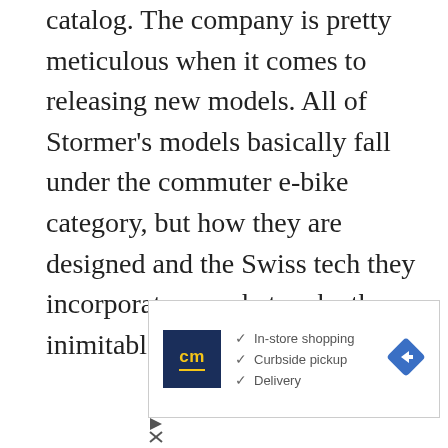catalog. The company is pretty meticulous when it comes to releasing new models. All of Stormer's models basically fall under the commuter e-bike category, but how they are designed and the Swiss tech they incorporate are what make them inimitable.
[Figure (other): Advertisement box with CM logo (dark blue background with yellow 'cm' text), checkmarks for In-store shopping, Curbside pickup, and Delivery, plus a navigation/directions icon (blue diamond with white arrow)]